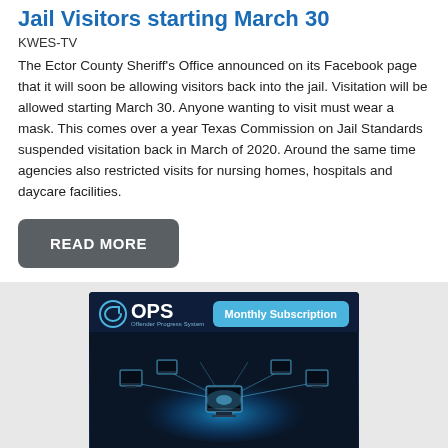Jail Visitors starting March 30
KWES-TV
The Ector County Sheriff's Office announced on its Facebook page that it will soon be allowing visitors back into the jail. Visitation will be allowed starting March 30. Anyone wanting to visit must wear a mask. This comes over a year Texas Commission on Jail Standards suspended visitation back in March of 2020. Around the same time agencies also restricted visits for nursing homes, hospitals and daycare facilities.
READ MORE
[Figure (illustration): OPS (Offender Progress System) advertisement showing a web-based community service and work crew tracking software. Dark blue background with networked computers arranged in a circle, Monthly Subscription button, and text reading 'Web-based Community Service and Work Crew Tracking Software'.]